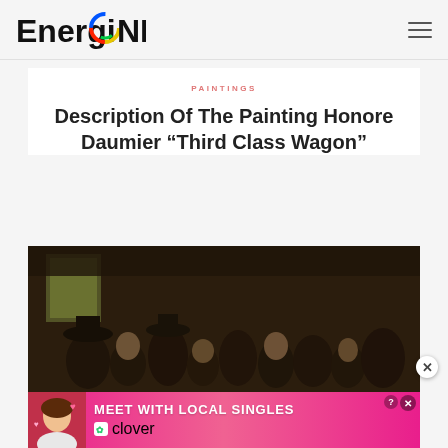EnergioNE
PAINTINGS
Description Of The Painting Honore Daumier “Third Class Wagon”
[Figure (photo): Dark oil painting showing crowded third-class train wagon with passengers, Honore Daumier style]
[Figure (photo): Advertisement banner: Meet With Local Singles - Clover app ad with woman photo]